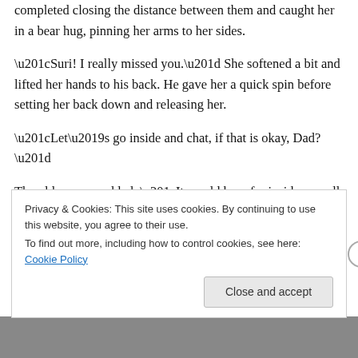completed closing the distance between them and caught her in a bear hug, pinning her arms to her sides.
“Suri! I really missed you.” She softened a bit and lifted her hands to his back. He gave her a quick spin before setting her back down and releasing her.
“Let’s go inside and chat, if that is okay, Dad?”
The older man nodded. “It would be safer inside as well. Welcome to my humble home, princess, and stay for a snack and some conversation.”
Privacy & Cookies: This site uses cookies. By continuing to use this website, you agree to their use.
To find out more, including how to control cookies, see here: Cookie Policy